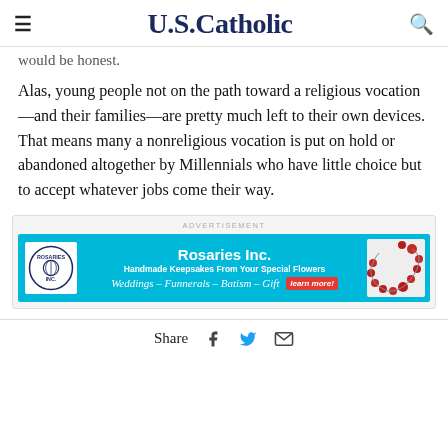U.S.Catholic
would be honest.
Alas, young people not on the path toward a religious vocation—and their families—are pretty much left to their own devices. That means many a nonreligious vocation is put on hold or abandoned altogether by Millennials who have little choice but to accept whatever jobs come their way.
[Figure (infographic): Advertisement banner for Rosaries Inc. with cyan background, logo, text reading 'Rosaries Inc. Handmade Keepsakes From Your Special Flowers Weddings – Funnerals – Batism – Gift' with a learn more button and rosary image.]
Share